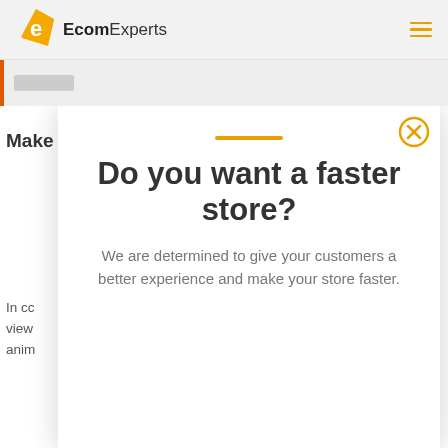[Figure (logo): EcomExperts logo with orange rhombus-shaped icon and text 'EcomExperts']
Do you want a faster store?
We are determined to give your customers a better experience and make your store faster.
Make
In cc
view
anim